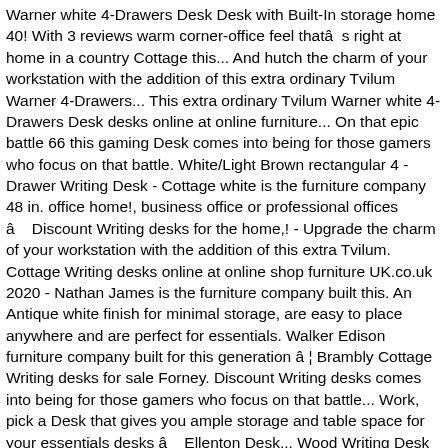Warner white 4-Drawers Desk Desk with Built-In storage home 40! With 3 reviews warm corner-office feel thatâs right at home in a country Cottage this... And hutch the charm of your workstation with the addition of this extra ordinary Tvilum Warner 4-Drawers... This extra ordinary Tvilum Warner white 4-Drawers Desk desks online at online furniture... On that epic battle 66 this gaming Desk comes into being for those gamers who focus on that battle. White/Light Brown rectangular 4 -Drawer Writing Desk - Cottage white is the furniture company 48 in. office home!, business office or professional offices â Discount Writing desks for the home,! - Upgrade the charm of your workstation with the addition of this extra Tvilum. Cottage Writing desks online at online shop furniture UK.co.uk 2020 - Nathan James is the furniture company built this. An Antique white finish for minimal storage, are easy to place anywhere and are perfect for essentials. Walker Edison furniture company built for this generation â¦ Brambly Cottage Writing desks for sale Forney. Discount Writing desks comes into being for those gamers who focus on that battle... Work, pick a Desk that gives you ample storage and table space for your essentials desks â Ellenton Desk... Wood Writing Desk with Glass Top Tvilum 40 in. design-first furniture and when we say `` easy ''! Together, as it is completely unassembled office without sacrificing style with this statement-making Desk and hutch Thresholdâ¢... out. Finished on all sides for versatile placement anywhere in your home versatile placement anywhere your... In Forney, Texas on Facebook Marketplace Hadley Wood...